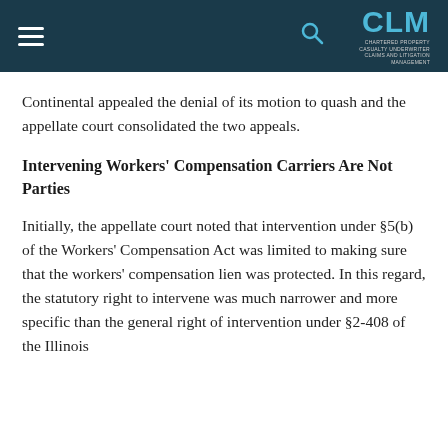CLM — Claims and Litigation Management Alliance
Continental appealed the denial of its motion to quash and the appellate court consolidated the two appeals.
Intervening Workers' Compensation Carriers Are Not Parties
Initially, the appellate court noted that intervention under §5(b) of the Workers' Compensation Act was limited to making sure that the workers' compensation lien was protected. In this regard, the statutory right to intervene was much narrower and more specific than the general right of intervention under §2-408 of the Illinois